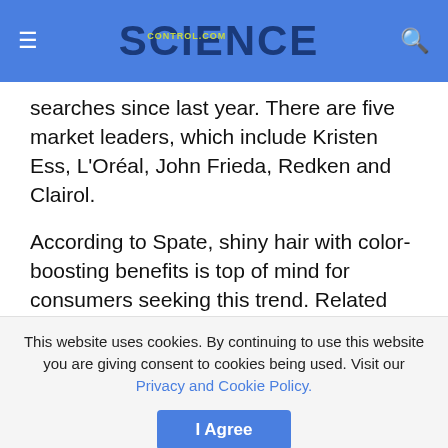SCIENCE CONTROL.COM
searches since last year. There are five market leaders, which include Kristen Ess, L'Oréal, John Frieda, Redken and Clairol.
According to Spate, shiny hair with color-boosting benefits is top of mind for consumers seeking this trend. Related searches include terms like: treatment, at home, what is, clear, salon, for gray, glaze and shine. Searches for at home and salon reveal that there is a range in the type of hair treatment service that consumers are searching for. This is a great opportunity to bring a salon treatment at home in a
This website uses cookies. By continuing to use this website you are giving consent to cookies being used. Visit our Privacy and Cookie Policy.